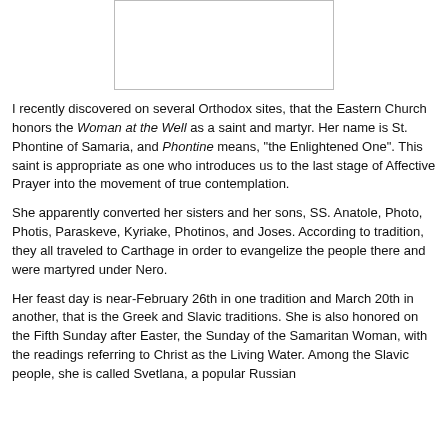[Figure (other): Blank white rectangular image placeholder with light border]
I recently discovered on several Orthodox sites, that the Eastern Church honors the Woman at the Well as a saint and martyr. Her name is St. Phontine of Samaria, and Phontine means, "the Enlightened One". This saint is appropriate as one who introduces us to the last stage of Affective Prayer into the movement of true contemplation.
She apparently converted her sisters and her sons, SS. Anatole, Photo, Photis, Paraskeve, Kyriake, Photinos, and Joses. According to tradition, they all traveled to Carthage in order to evangelize the people there and were martyred under Nero.
Her feast day is near-February 26th in one tradition and March 20th in another, that is the Greek and Slavic traditions. She is also honored on the Fifth Sunday after Easter, the Sunday of the Samaritan Woman, with the readings referring to Christ as the Living Water. Among the Slavic people, she is called Svetlana, a popular Russian